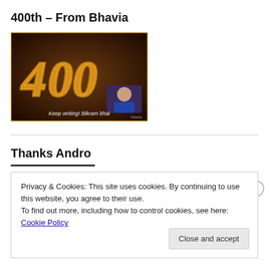400th – From Bhavia
[Figure (photo): A decorative image showing golden '400' text in cursive style on a dark background, with a small photo of a person in the bottom-right and text reading 'Keep writing! Bikram bhai']
Thanks Andro
Privacy & Cookies: This site uses cookies. By continuing to use this website, you agree to their use. To find out more, including how to control cookies, see here: Cookie Policy